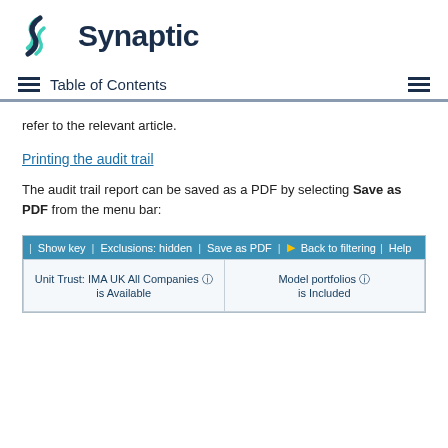Synaptic
Table of Contents
refer to the relevant article.
Printing the audit trail
The audit trail report can be saved as a PDF by selecting Save as PDF from the menu bar:
[Figure (screenshot): Screenshot of Synaptic menu bar showing options: Show key | Exclusions: hidden | Save as PDF | Back to filtering | Help, with filter rows showing 'Unit Trust: IMA UK All Companies is Available' and 'Model portfolios is Included']